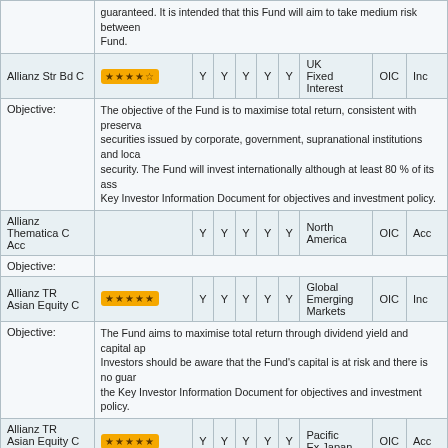| Fund | Rating |  |  |  |  |  | Region | OIC | Type |
| --- | --- | --- | --- | --- | --- | --- | --- | --- | --- |
|  | guaranteed. It is intended that this Fund will aim to take medium risk between Fund. |  |  |  |  |  |  |  |  |
| Allianz Str Bd C | ★★★★☆ | Y | Y | Y | Y | Y | UK Fixed Interest | OIC | Inc |
| Objective: | The objective of the Fund is to maximise total return, consistent with preservation of capital. The Fund will invest primarily in securities issued by corporate, government, supranational institutions and local authorities in any currency and of any credit quality or security. The Fund will invest internationally although at least 80 % of its assets will be hedged in sterling. Please refer to the Key Investor Information Document for objectives and investment policy. |  |  |  |  |  |  |  |  |
| Allianz Thematica C Acc |  | Y | Y | Y | Y | Y | North America | OIC | Acc |
| Objective: |  |  |  |  |  |  |  |  |  |
| Allianz TR Asian Equity C | ★★★★★ | Y | Y | Y | Y | Y | Global Emerging Markets | OIC | Inc |
| Objective: | The Fund aims to maximise total return through dividend yield and capital appreciation. Investors should be aware that the Fund's capital is at risk and there is no guarantee of return. Please refer to the Key Investor Information Document for objectives and investment policy. |  |  |  |  |  |  |  |  |
| Allianz TR Asian Equity C Acc | ★★★★★ | Y | Y | Y | Y | Y | Pacific Ex Japan | OIC | Acc |
| Objective: | The Fund aims to maximise total return through dividend yield and capital appreciation. Investors should be aware that the Fund's capital is at risk and there is no guarantee of return. Please refer to the Key Investor Information Document for objectives and investment policy. |  |  |  |  |  |  |  |  |
| Allianz UK Mid Cap C | ★★☆☆☆ | Y | Y | Y | Y | Y | UK Equity | OIC | Acc |